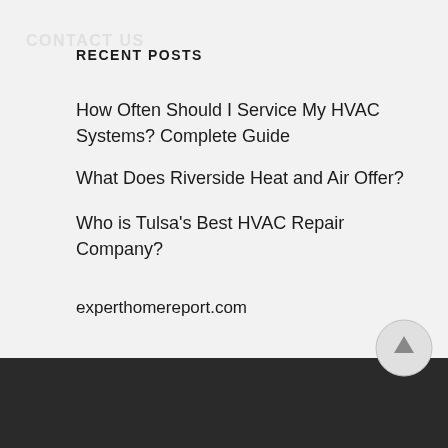RECENT POSTS
How Often Should I Service My HVAC Systems? Complete Guide
What Does Riverside Heat and Air Offer?
Who is Tulsa's Best HVAC Repair Company?
experthomereport.com
CONTACT US